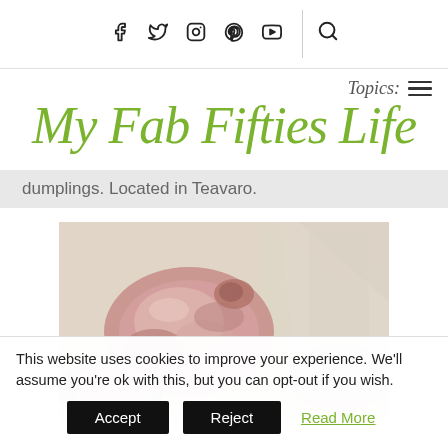Social icons: Facebook, Twitter, Instagram, Pinterest, YouTube, Search
Topics: ≡
My Fab Fifties Life
dumplings. Located in Teavaro.
[Figure (photo): Close-up photo of raw chicken pieces on white paper/packaging]
This website uses cookies to improve your experience. We'll assume you're ok with this, but you can opt-out if you wish.
Accept  Reject  Read More